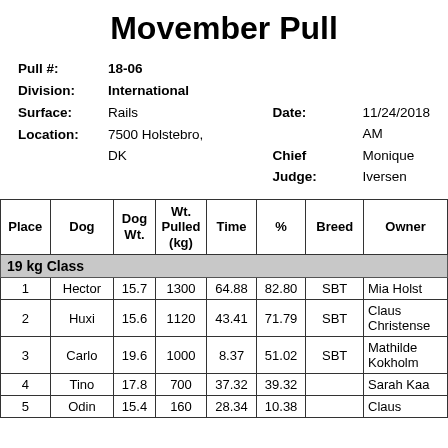Movember Pull
Pull #: 18-06
Division: International
Surface: Rails   Date: 11/24/2018 AM
Location: 7500 Holstebro, DK   Chief Judge: Monique Iversen
| Place | Dog | Dog Wt. | Wt. Pulled (kg) | Time | % | Breed | Owner |
| --- | --- | --- | --- | --- | --- | --- | --- |
| 19 kg Class |  |  |  |  |  |  |  |
| 1 | Hector | 15.7 | 1300 | 64.88 | 82.80 | SBT | Mia Holst |
| 2 | Huxi | 15.6 | 1120 | 43.41 | 71.79 | SBT | Claus Christense |
| 3 | Carlo | 19.6 | 1000 | 8.37 | 51.02 | SBT | Mathilde Kokholm |
| 4 | Tino | 17.8 | 700 | 37.32 | 39.32 |  | Sarah Kaa |
| 5 | Odin | 15.4 | 160 | 28.34 | 10.38 |  | Claus |